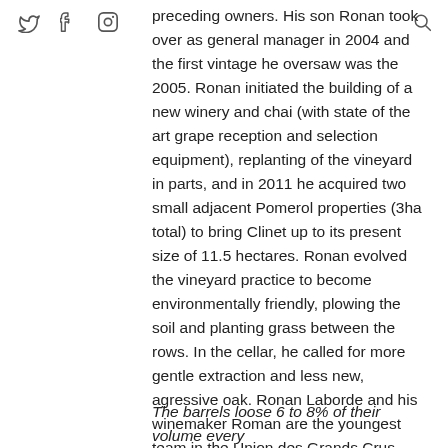[social icons: Twitter, Facebook, Instagram, Search]
preceding owners. His son Ronan took over as general manager in 2004 and the first vintage he oversaw was the 2005. Ronan initiated the building of a new winery and chai (with state of the art grape reception and selection equipment), replanting of the vineyard in parts, and in 2011 he acquired two small adjacent Pomerol properties (3ha total) to bring Clinet up to its present size of 11.5 hectares. Ronan evolved the vineyard practice to become environmentally friendly, plowing the soil and planting grass between the rows. In the cellar, he called for more gentle extraction and less new, agressive oak. Ronan Laborde and his winemaker Roman are the youngest team in the Union des Grands Crus (both are in their thirties). Ronan also owns and manages Château Pajzos in Hungary.
The barrels loose 6 to 8% of their volume every